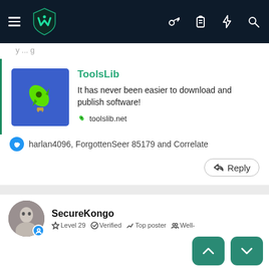Navigation bar with hamburger menu, ToolsLib logo, key, clipboard, bolt, and search icons
y ... g
[Figure (screenshot): ToolsLib app listing card with rocket icon thumbnail, title ToolsLib, description 'It has never been easier to download and publish software!', and link toolslib.net]
harlan4096, ForgottenSeer 85179 and Correlate
Reply
SecureKongo
Level 29  Verified  Top poster  Well-